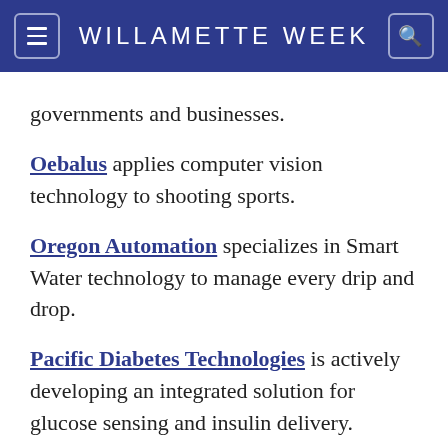WILLAMETTE WEEK
governments and businesses.
Oebalus applies computer vision technology to shooting sports.
Oregon Automation specializes in Smart Water technology to manage every drip and drop.
Pacific Diabetes Technologies is actively developing an integrated solution for glucose sensing and insulin delivery.
PhotoPad, based in Seattle, is a design tool for businesses to create visual graphics to tell brand